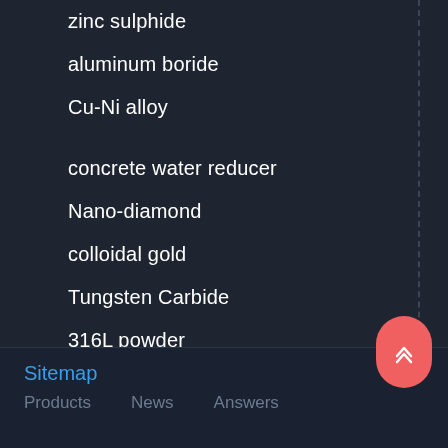zinc sulphide
aluminum boride
Cu-Ni alloy
concrete water reducer
Nano-diamond
colloidal gold
Tungsten Carbide
316L powder
Spherical Tungsten Powder
silica fume
Sitemap  Products  News  Answers